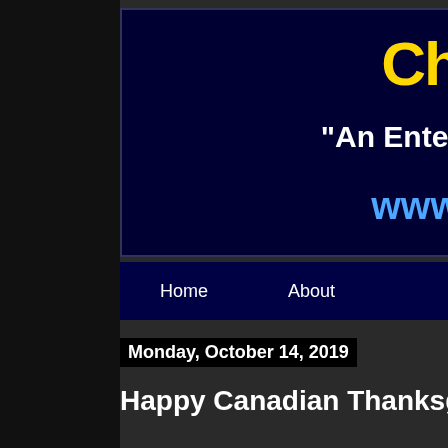Ch
"An Enter
www
Home    About
Monday, October 14, 2019
Happy Canadian Thanksgiving 2